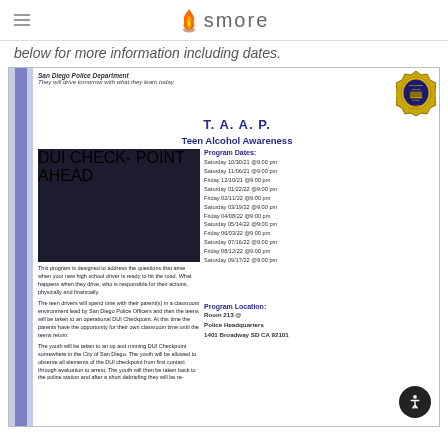smore
below for more information including dates.
[Figure (infographic): San Diego Police Department TAAP Teen Alcohol Awareness Program flyer with DUI checkpoint photo, program dates, badge logo, and location information]
San Diego Police Department
They will drive tomorrow with what they learn today.
T. A. A. P.
Teen Alcohol Awareness
Program Dates:
Saturday 10/30/21 @9:00 pm
Saturday 11/06/21 @9:00 pm
Friday 12/10/21 @9:00 pm
Saturday 01/22/22 @9:00 pm
Friday 02/11/22 @9:00 pm
Saturday 03/19/22 @9:00 pm
Friday 04/08/22 @9:00 pm
Saturday 05/14/22 @9:00 pm
Friday 06/03/22 @9:00 pm
Saturday 07/16/22 @9:00 pm
Friday 08/12/22 @9:00 pm
Saturday 09/17/22 @9:00 pm
This program is designed to address the questions that arise when your new high school driver is ready to hit the road. What happens when they drive, who is responsible for their actions, physically and financially.
The teen drivers will spend time with their parent(s) in a classroom environment lead by San Diego Police Officers and then the teens will be taken to an operational DUI Checkpoint. At this time the parents have the opportunity for their own classroom time until the teens return.
The youth will be taken to an up and running DUI Checkpoint somewhere in the City of San Diego. The youth will be allowed to observe all elements of the DUI checkpoint from first contact through evaluation to arrest. The youth will then be taken back to the police station and after a short debriefing they will be re-
Program Location:
Room 213 @
Police Headquarters
1401 Broadway SD CA 92101